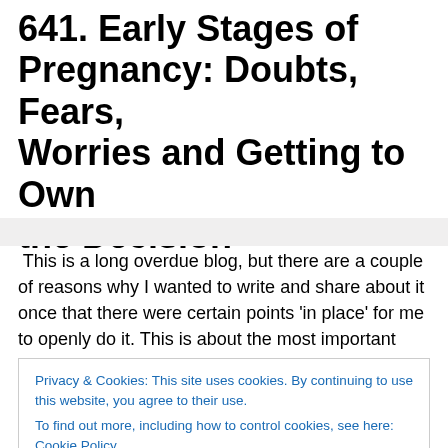641. Early Stages of Pregnancy: Doubts, Fears, Worries and Getting to Own the Decision
This is a long overdue blog, but there are a couple of reasons why I wanted to write and share about it once that there were certain points 'in place' for me to openly do it. This is about the most important decision I've made and am still actually learning to walk in my life and to get to a point of owning it, which will mean stepping into a new
Privacy & Cookies: This site uses cookies. By continuing to use this website, you agree to their use.
To find out more, including how to control cookies, see here: Cookie Policy
since I also went through a phase where I considered